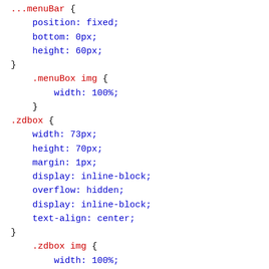...menuBar {
    position: fixed;
    bottom: 0px;
    height: 60px;
}

    .menuBox img {
        width: 100%;
    }

.zdbox {
    width: 73px;
    height: 70px;
    margin: 1px;
    display: inline-block;
    overflow: hidden;
    display: inline-block;
    text-align: center;
}

    .zdbox img {
        width: 100%;
        height: 30px;
    }

    .zdbox a {
        color: #494848;
        font-size: 12px;
    }